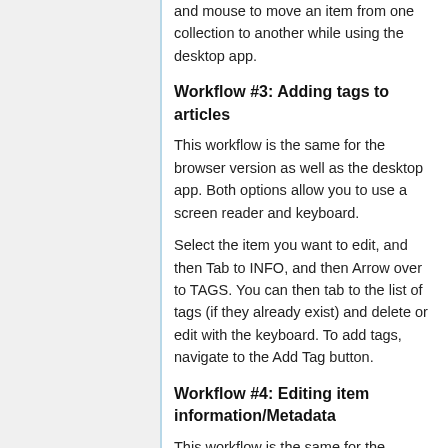and mouse to move an item from one collection to another while using the desktop app.
Workflow #3: Adding tags to articles
This workflow is the same for the browser version as well as the desktop app. Both options allow you to use a screen reader and keyboard.
Select the item you want to edit, and then Tab to INFO, and then Arrow over to TAGS. You can then tab to the list of tags (if they already exist) and delete or edit with the keyboard. To add tags, navigate to the Add Tag button.
Workflow #4: Editing item information/Metadata
This workflow is the same for the